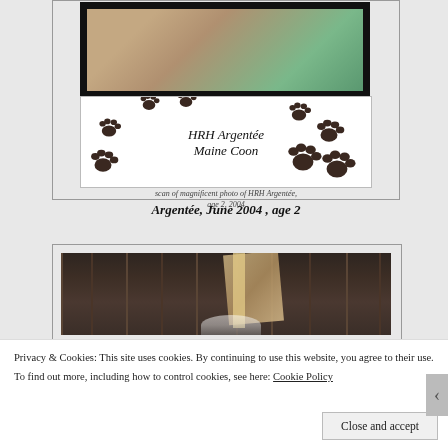[Figure (photo): Framed card showing a cat photo at top, with paw print decorations and text 'HRH Argentée Maine Coon' in italic script]
scan of magnificent photo of HRH Argentée, age 2, 2004
Argentée, June 2004 , age 2
[Figure (photo): Partial photo of a cat near wooden fence/boards, dark brown tones]
Privacy & Cookies: This site uses cookies. By continuing to use this website, you agree to their use.
To find out more, including how to control cookies, see here: Cookie Policy